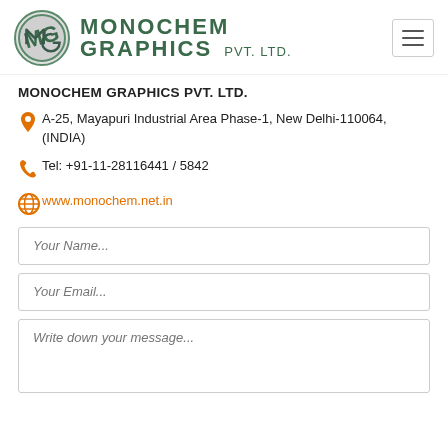[Figure (logo): Monochem Graphics Pvt. Ltd. logo with circular MG icon and company name in dark green]
MONOCHEM GRAPHICS PVT. LTD.
A-25, Mayapuri Industrial Area Phase-1, New Delhi-110064, (INDIA)
Tel: +91-11-28116441 / 5842
www.monochem.net.in
Your Name...
Your Email...
Write down your message...